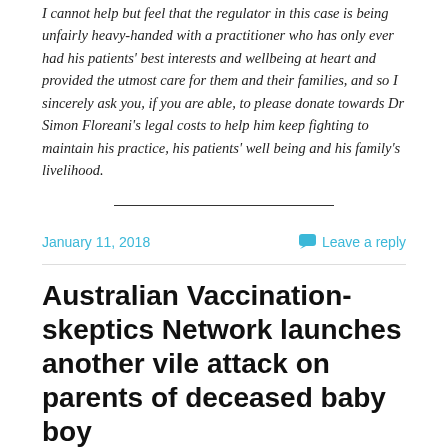I cannot help but feel that the regulator in this case is being unfairly heavy-handed with a practitioner who has only ever had his patients' best interests and wellbeing at heart and provided the utmost care for them and their families, and so I sincerely ask you, if you are able, to please donate towards Dr Simon Floreani's legal costs to help him keep fighting to maintain his practice, his patients' well being and his family's livelihood.
January 11, 2018
Leave a reply
Australian Vaccination-skeptics Network launches another vile attack on parents of deceased baby boy
The anti-vaccination pressure group the Australian Vaccination-skeptics Network has decided that it is on a winner now that it is openly